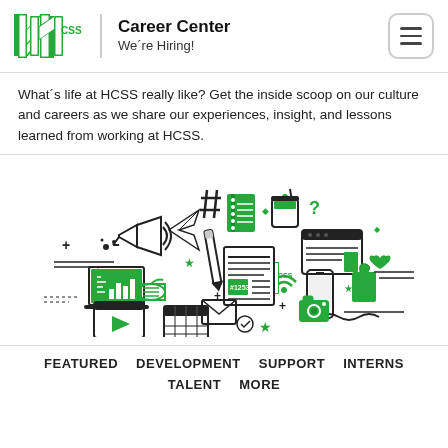HCSS Career Center — We're Hiring!
What's life at HCSS really like? Get the inside scoop on our culture and careers as we share our experiences, insight, and lessons learned from working at HCSS.
[Figure (illustration): An illustration with various icons representing work and digital media at HCSS: megaphone, hashtag, coffee cup, wifi, document, HCSS logo, phone, thumbs up, laptop, money, pencil, newspaper, calendar, email, camera, video player, and decorative elements in green and black.]
FEATURED
DEVELOPMENT
SUPPORT
INTERNS
TALENT
MORE